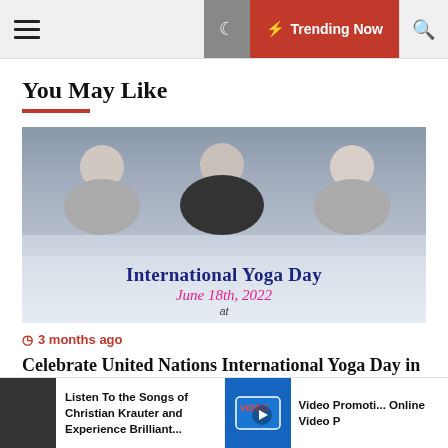≡  🌙  ⚡ Trending Now  🔍
You May Like
[Figure (photo): People sitting in lotus yoga pose, with text overlay 'International Yoga Day June 18th, 2022 at']
3 months ago
Celebrate United Nations International Yoga Day in NJ and NY
Listen To the Songs of Christian Krauter and Experience Brilliant...
Video Promoti... Online Video P